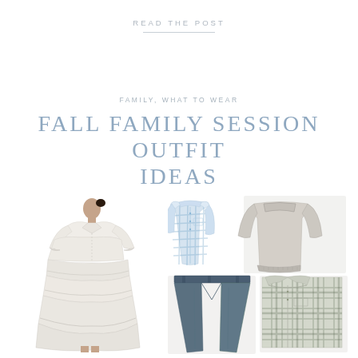READ THE POST
FAMILY, WHAT TO WEAR
FALL FAMILY SESSION OUTFIT IDEAS
[Figure (illustration): Fashion flat-lay style collage: left side shows a woman wearing a white tiered midi shirt dress with 3/4 sleeves and a V-neckline; right side shows a blue gingham button-down shirt, a light gray crewneck sweater, dark blue slim pants, and a green/gray plaid button-down shirt arranged as a family outfit set.]